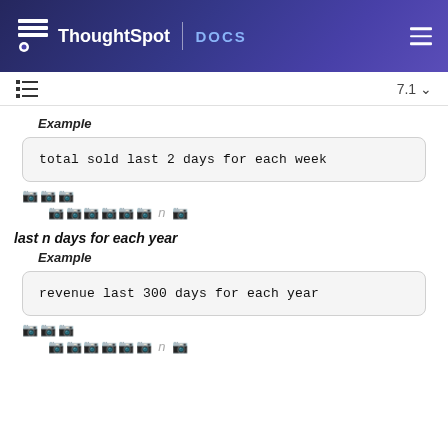ThoughtSpot DOCS
Example
total sold last 2 days for each week
🖼🖼🖼
last n days for each year
Example
revenue last 300 days for each year
🖼🖼🖼